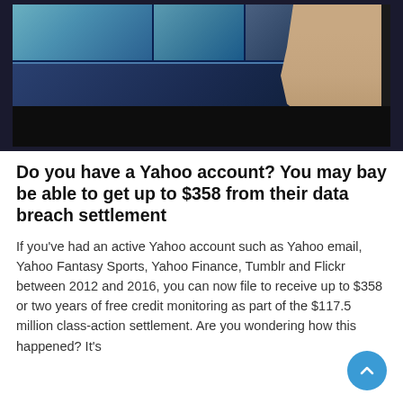[Figure (photo): A person in a dark shirt making a hand gesture in front of a blue TV studio backdrop with multiple screen panels]
Do you have a Yahoo account? You may bay be able to get up to $358 from their data breach settlement
If you've had an active Yahoo account such as Yahoo email, Yahoo Fantasy Sports, Yahoo Finance, Tumblr and Flickr between 2012 and 2016, you can now file to receive up to $358 or two years of free credit monitoring as part of the $117.5 million class-action settlement. Are you wondering how this happened? It's